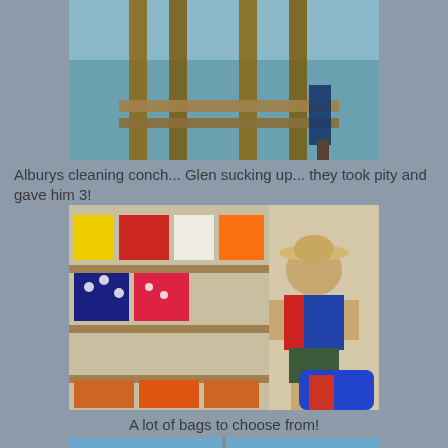[Figure (photo): Photo of people on a dock/pier over water, wooden pilings visible, person cleaning conch]
Alburys cleaning conch... Glen sucking up... they took pity and gave him 3!
[Figure (photo): Man in hat crouching in a shop full of colorful bags on shelves and in boxes]
A lot of bags to choose from!
[Figure (photo): Partial view of a boat scene with water and rigging visible]